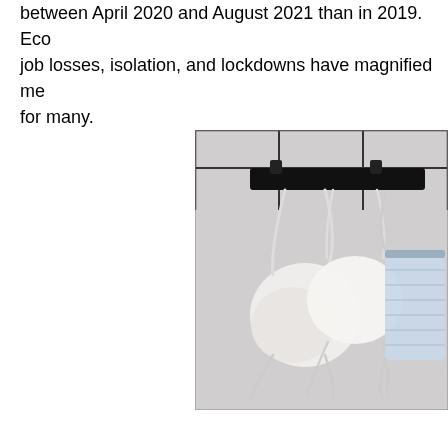between April 2020 and August 2021 than in 2019. Economic job losses, isolation, and lockdowns have magnified mental health challenges for many.
[Figure (photo): Photograph of two white face masks and one blue surgical mask hanging from a black rack or rail against a light gray background.]